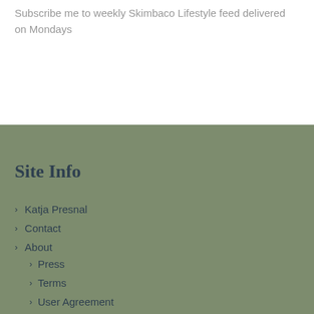Subscribe me to weekly Skimbaco Lifestyle feed delivered on Mondays
Site Info
Katja Presnal
Contact
About
Press
Terms
User Agreement